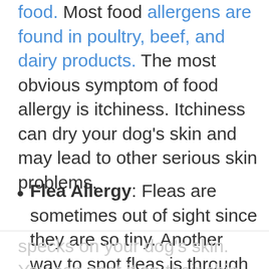food. Most food allergens are found in poultry, beef, and dairy products. The most obvious symptom of food allergy is itchiness. Itchiness can dry your dog's skin and may lead to other serious skin problems.
Flea Allergy: Fleas are sometimes out of sight since they are so tiny. Another way to spot fleas is through flea dirt. Flea dirt is the pepper-like
specks on your dog's skin. You can spot it on their chin, under